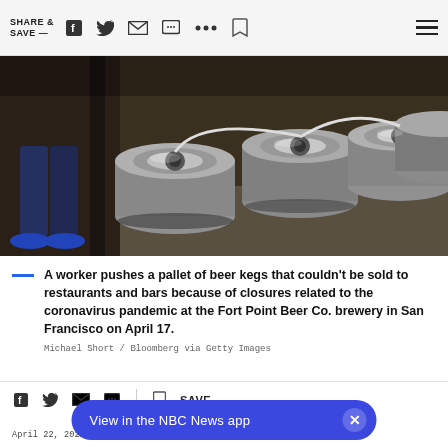SHARE & SAVE —
[Figure (photo): A worker pushes a pallet of beer kegs stacked in a brewery warehouse. Beer kegs are piled on the floor. The worker's legs and blue sneakers are visible.]
A worker pushes a pallet of beer kegs that couldn't be sold to restaurants and bars because of closures related to the coronavirus pandemic at the Fort Point Beer Co. brewery in San Francisco on April 17.
Michael Short / Bloomberg via Getty Images
SAVE
View in the NBC News app
April 22, 2020, 6:25 PM UTC / Updated April 28, 2020, 8:42 PM UTC